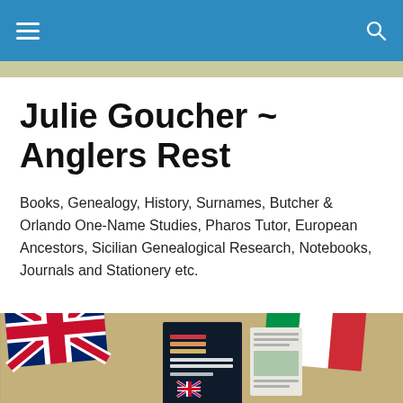Navigation bar with menu icon and search icon
Julie Goucher ~ Anglers Rest
Books, Genealogy, History, Surnames, Butcher & Orlando One-Name Studies, Pharos Tutor, European Ancestors, Sicilian Genealogical Research, Notebooks, Journals and Stationery etc.
[Figure (illustration): Banner image on khaki/tan background showing Union Jack flag on left, a dark book cover with 'Butcher & Orlando One-Name Studies' text in center, a document/brochure, and Italian flag on right. Text below reads 'BUTCHER & ORLANDO ONE-NAME STUDIES']
POSTED IN MATTHEWS
Follow ...